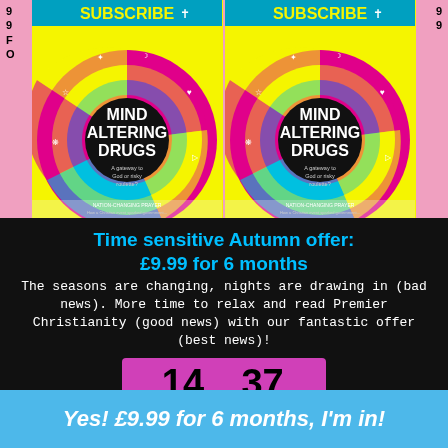[Figure (illustration): Two magazine covers of 'Mind Altering Drugs - A gateway to God or risky roulette?' with SUBSCRIBE banner, on a pink background with side text '9 9 F O']
Time sensitive Autumn offer:
£9.99 for 6 months
The seasons are changing, nights are drawing in (bad news). More time to relax and read Premier Christianity (good news) with our fantastic offer (best news)!
[Figure (infographic): Countdown timer showing 14 Minutes 37 Seconds on a magenta/pink background]
Yes! £9.99 for 6 months, I'm in!